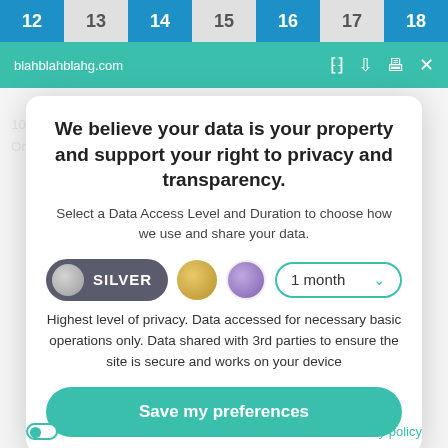[Figure (screenshot): Browser tab bar with numbered tabs 12-18, alternating blue and grey]
[Figure (screenshot): Green browser toolbar showing URL blahblahblahg.com and toolbar icons]
We believe your data is your property and support your right to privacy and transparency.
Select a Data Access Level and Duration to choose how we use and share your data.
[Figure (infographic): Privacy level selector: SILVER pill selected, gold circle, purple circle, and 1 month dropdown]
Highest level of privacy. Data accessed for necessary basic operations only. Data shared with 3rd parties to ensure the site is secure and works on your device
[Figure (infographic): Save my preferences green button]
Customize
Privacy policy